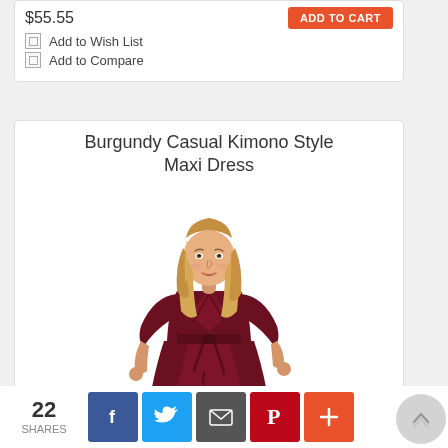$55.55
ADD TO CART
Add to Wish List
Add to Compare
Burgundy Casual Kimono Style Maxi Dress
[Figure (photo): Woman wearing a burgundy kimono-style maxi wrap dress with 3/4 sleeves and a tie waist, posing against a white background]
22 SHARES
[Figure (infographic): Social sharing buttons: Facebook (blue), Twitter (light blue), Email (grey), Pinterest (red), and a plus button (orange)]